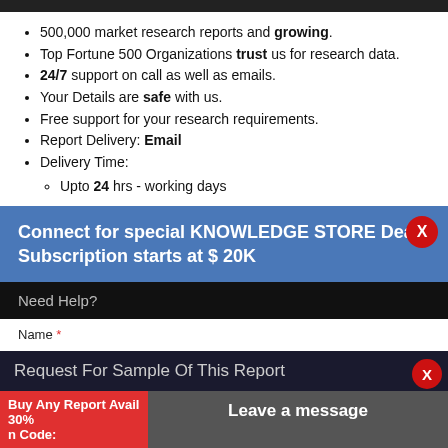500,000 market research reports and growing.
Top Fortune 500 Organizations trust us for research data.
24/7 support on call as well as emails.
Your Details are safe with us.
Free support for your research requirements.
Report Delivery: Email
Delivery Time:
  Upto 24 hrs - working days
Connect for special KNOWLEDGE STORE Deals
Subscription starts at $ 20K
Need Help?
Name *
Request For Sample Of This Report
Buy Any Report Avail 30%
Leave a message
n Code:
Email *